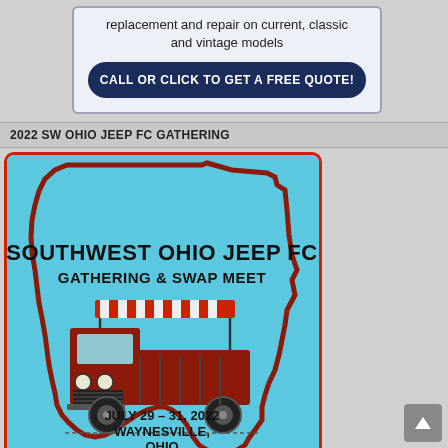replacement and repair on current, classic and vintage models
CALL OR CLICK TO GET A FREE QUOTE!
2022 SW OHIO JEEP FC GATHERING
[Figure (illustration): Southwest Ohio Jeep FC Gathering & Swap Meet event poster/logo. Features the outline of the state of Ohio in light blue with a dark red border, containing text 'SOUTHWEST OHIO JEEP FC GATHERING & SWAP MEET', an illustration of a dark red Jeep FC truck with a striped canopy, and the event details 'JULY 29 - 31, 2022 WAYNESVILLE, OHIO'.]